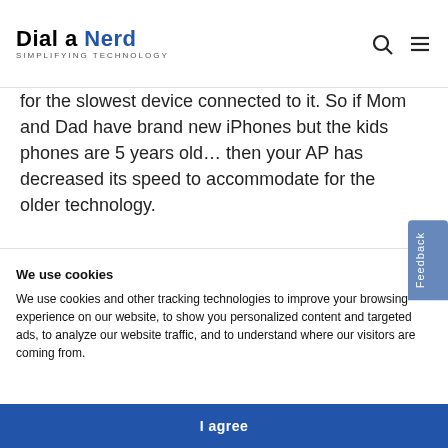Dial a Nerd - Simplifying Technology
for the slowest device connected to it. So if Mom and Dad have brand new iPhones but the kids phones are 5 years old... then your AP has decreased its speed to accommodate for the older technology.
So once you know this... think about where your router is and think about what that signal has to get through to reach your devices.
We use cookies
We use cookies and other tracking technologies to improve your browsing experience on our website, to show you personalized content and targeted ads, to analyze our website traffic, and to understand where our visitors are coming from.
I agree